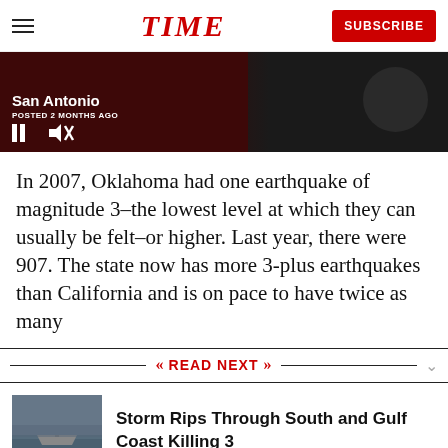TIME | SUBSCRIBE
[Figure (screenshot): Video strip showing 'San Antonio' text with POSTED 2 MONTHS AGO, pause and mute controls, dark background with partial image of a person]
In 2007, Oklahoma had one earthquake of magnitude 3–the lowest level at which they can usually be felt–or higher. Last year, there were 907. The state now has more 3-plus earthquakes than California and is on pace to have twice as many
READ NEXT
[Figure (photo): Thumbnail image showing a flooded scene]
Storm Rips Through South and Gulf Coast Killing 3